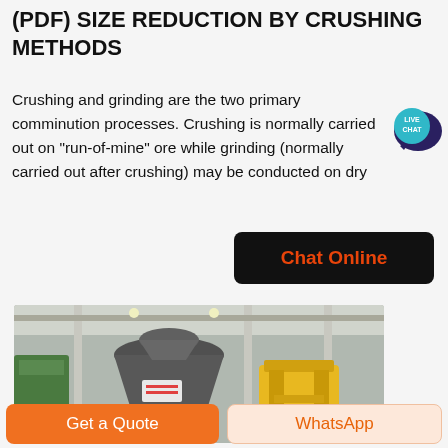(PDF) SIZE REDUCTION BY CRUSHING METHODS
Crushing and grinding are the two primary comminution processes. Crushing is normally carried out on "run-of-mine" ore while grinding (normally carried out after crushing) may be conducted on dry
[Figure (other): Live chat bubble icon — teal circular badge with speech bubble and text 'LIVE CHAT']
[Figure (other): Black rounded rectangle button with orange text 'Chat Online']
[Figure (photo): Industrial factory photo showing a large grey cone crusher machine in the foreground with a yellow jaw crusher to the right, industrial building structure in the background]
[Figure (other): Orange 'Get a Quote' button and light orange 'WhatsApp' button at the bottom of the page]